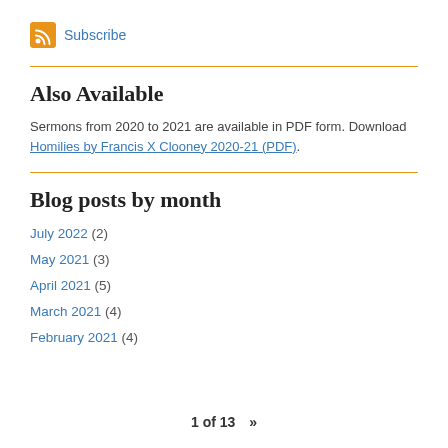[Figure (logo): RSS feed icon (orange square with white signal waves) followed by Subscribe link]
Also Available
Sermons from 2020 to 2021 are available in PDF form. Download Homilies by Francis X Clooney 2020-21 (PDF).
Blog posts by month
July 2022 (2)
May 2021 (3)
April 2021 (5)
March 2021 (4)
February 2021 (4)
1 of 13  »